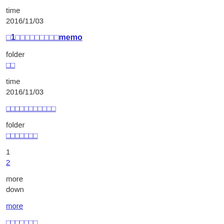time
2016/11/03
□1□□□□□□□□□memo
folder
□□
time
2016/11/03
□□□□□□□□□□□
folder
□□□□□□□
1
2
more
down
more
□□□□□□□